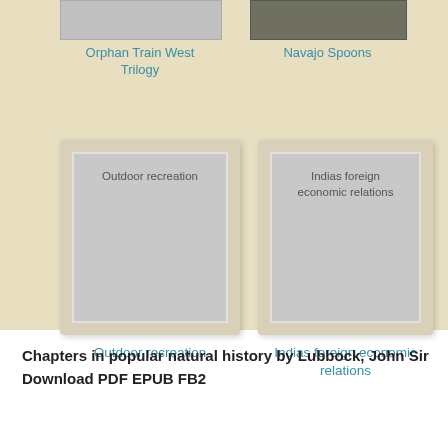[Figure (illustration): Book card for Orphan Train West Trilogy with gray thumbnail image and teal title text]
[Figure (illustration): Book card for Navajo Spoons with dark photographic thumbnail and teal title text]
[Figure (illustration): Book cover card placeholder for Outdoor recreation with gray cover showing category text]
Outdoor recreation
[Figure (illustration): Book cover card placeholder for Indias foreign economic relations with gray cover showing category text]
Indias foreign economic relations
Chapters in popular natural history by Lubbock, John Sir Download PDF EPUB FB2